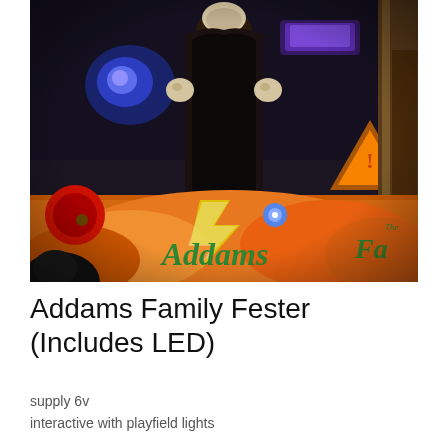[Figure (photo): Close-up photograph of an Addams Family pinball machine showing a dark figurine of Uncle Fester standing on the playfield with colorful LED lights, blue glowing bumpers, and the Addams Family logo visible on the playfield surface.]
Addams Family Fester (Includes LED)
supply 6v
interactive with playfield lights